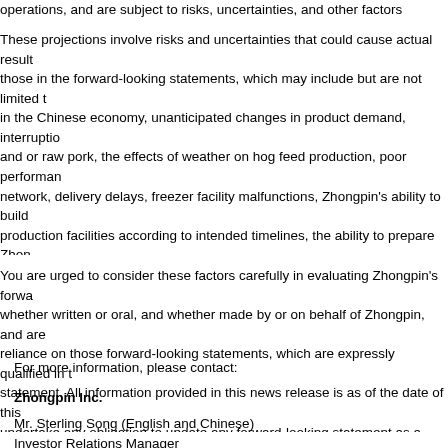operations, and are subject to risks, uncertainties, and other factors beyond the
These projections involve risks and uncertainties that could cause actual results to differ materially from those in the forward-looking statements, which may include but are not limited to fluctuations in the Chinese economy, unanticipated changes in product demand, interruptions in supply of pork and or raw pork, the effects of weather on hog feed production, poor performance of our distribution network, delivery delays, freezer facility malfunctions, Zhongpin's ability to build new processing and production facilities according to intended timelines, the ability to prepare Zhongpin's financials and predict Zhongpin's future financial performance and financing ability, changes in and the risk factors information detailed in Zhongpin's filings with the United States Securities and Exchange Commission, filings are available at www.sec.gov or at www.zpfood.com.
You are urged to consider these factors carefully in evaluating Zhongpin's forward-looking statements, whether written or oral, and whether made by or on behalf of Zhongpin, and are cautioned not to place reliance on those forward-looking statements, which are expressly qualified in their entirety by this statement. All information provided in this news release is as of the date of this press release. Zhongpin undertake any obligation to update any forward-looking statement as a result of new information, future events, or otherwise, except as required by law.
For more information, please contact:
Zhongpin Inc.
Mr. Sterling Song (English and Chinese)
Investor Relations Manager